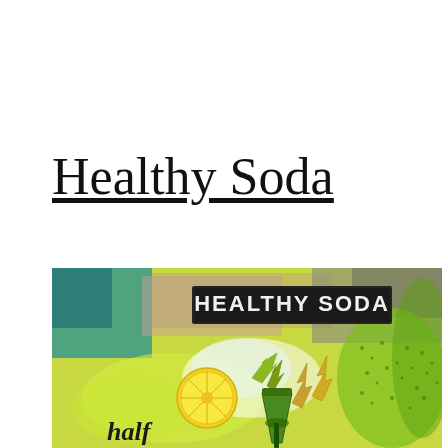Healthy Soda
[Figure (illustration): Colorful illustration for 'Healthy Soda' showing a lemon slice, a green drink cup, lightning bolt arrows, and green splashing water against a mixed teal/pink/yellow-green background. Bold text 'HEALTHY SODA' appears at the top of the image, and the word 'half' appears in cursive at the bottom left.]